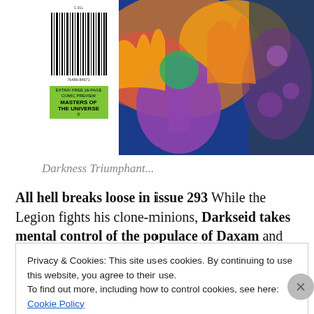[Figure (photo): Comic book cover image showing colorful superhero battle scene with flames and characters, including a barcode area on the left with Masters of the Universe label]
Darkness Triumphant...
All hell breaks loose in issue 293 While the Legion fights his clone-minions, Darkseid takes mental control of the populace of Daxam and unleashes them on the universe as his warriors. The big reveal is upon us as The Legion is beaten and battered at the hands of the
Privacy & Cookies: This site uses cookies. By continuing to use this website, you agree to their use.
To find out more, including how to control cookies, see here: Cookie Policy
Close and accept